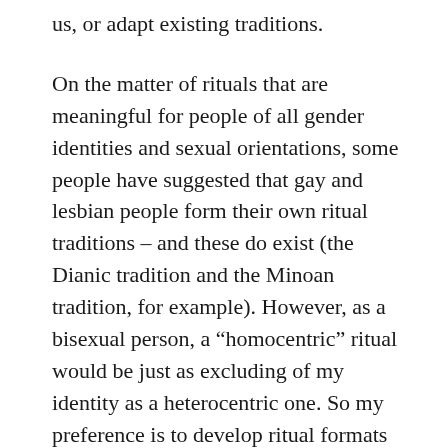us, or adapt existing traditions.
On the matter of rituals that are meaningful for people of all gender identities and sexual orientations, some people have suggested that gay and lesbian people form their own ritual traditions – and these do exist (the Dianic tradition and the Minoan tradition, for example). However, as a bisexual person, a “homocentric” ritual would be just as excluding of my identity as a heterocentric one. So my preference is to develop ritual formats that include everyone. A polytheistic perspective helps with this because deities can have multiple genders, different sexual orientations, and fluid identities. These can be